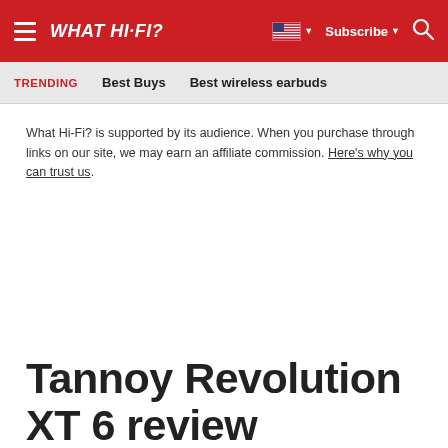WHAT HI-FI?
TRENDING   Best Buys   Best wireless earbuds
What Hi-Fi? is supported by its audience. When you purchase through links on our site, we may earn an affiliate commission. Here's why you can trust us.
Tannoy Revolution XT 6 review